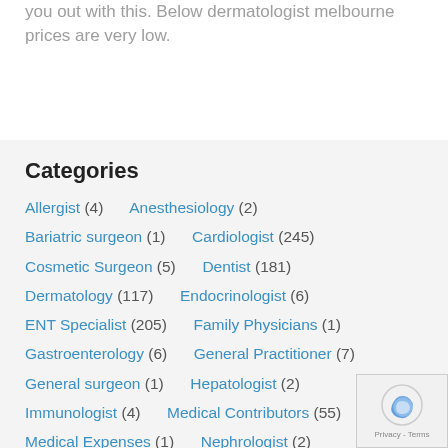you out with this. Below dermatologist melbourne prices are very low.
Categories
Allergist (4)   Anesthesiology (2)
Bariatric surgeon (1)   Cardiologist (245)
Cosmetic Surgeon (5)   Dentist (181)
Dermatology (117)   Endocrinologist (6)
ENT Specialist (205)   Family Physicians (1)
Gastroenterology (6)   General Practitioner (7)
General surgeon (1)   Hepatologist (2)
Immunologist (4)   Medical Contributors (55)
Medical Expenses (1)   Nephrologist (2)
Neurosurgeon (58)
Obstetrician and Gynaecologist (17)   Oncologist (5)